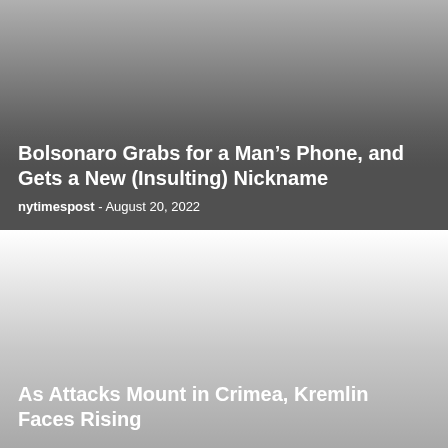[Figure (photo): Dark gradient background image for the first news article card]
Bolsonaro Grabs for a Man’s Phone, and Gets a New (Insulting) Nickname
nytimespost  -  August 20, 2022
[Figure (photo): Light-to-dark gradient background image for the second news article card]
As Attacks Mount in Crimea, Kremlin Faces Rising